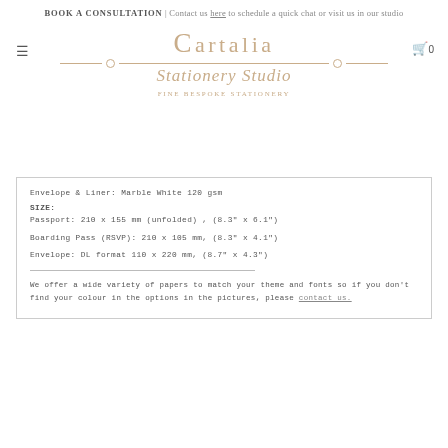BOOK A CONSULTATION | Contact us here to schedule a quick chat or visit us in our studio
[Figure (logo): Cartalia Stationery Studio logo with decorative serif wordmark and script subtitle, flanked by horizontal rules with circle accents. Subtitle reads FINE BESPOKE STATIONERY.]
Envelope & Liner: Marble White 120 gsm
SIZE:
Passport: 210 x 155 mm (unfolded) , (8.3" x 6.1")
Boarding Pass (RSVP):  210 x 105 mm, (8.3" x 4.1")
Envelope: DL format 110 x 220 mm, (8.7" x 4.3")
We offer a wide variety of papers to match your theme and fonts so if you don't find your colour in the options in the pictures, please contact us.